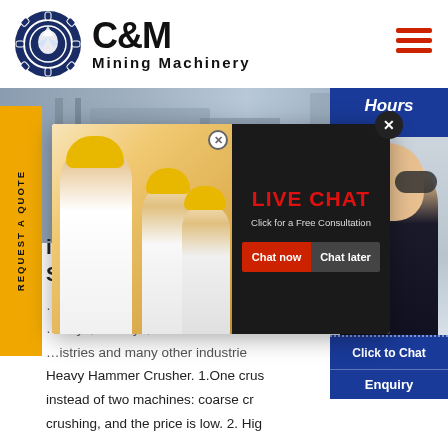[Figure (logo): C&M Mining Machinery logo with circular emblem featuring an eagle and gear, text 'C&M' in bold and 'Mining Machinery' below]
[Figure (screenshot): Website screenshot showing C&M Mining Machinery page with Live Chat popup overlay, yellow 'REQUEST A QUOTE' sidebar, background factory image, and agent photo on right side. Text visible: 'LIVE CHAT', 'Click for a Free Consultation', 'Chat now', 'Chat later', partial heading 'ina H Stone', body text about mining/smelting/railways industries and Heavy Hammer Crusher features, 'Click to Chat', 'Enquiry', 'Hours online'.]